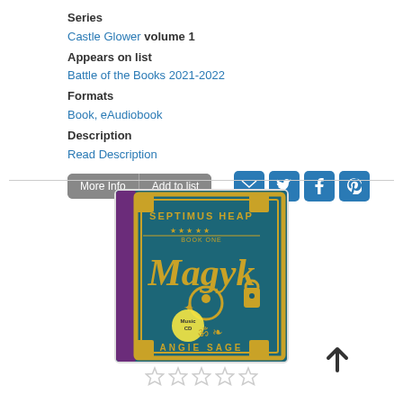Series
Castle Glower volume 1
Appears on list
Battle of the Books 2021-2022
Formats
Book, eAudiobook
Description
Read Description
[Figure (photo): Book cover for Magyk by Angie Sage, Septimus Heap Book One. Dark teal cover with gold decorative elements, ring illustration, and ornate borders.]
[Figure (other): Five empty star rating icons]